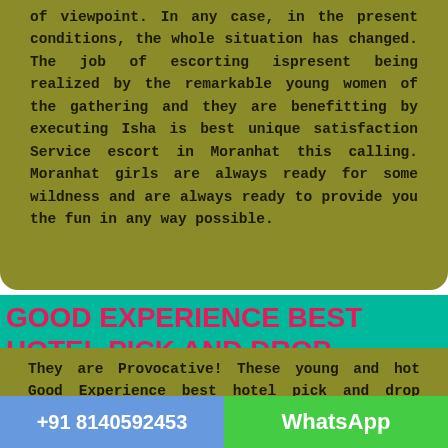of viewpoint. In any case, in the present conditions, the whole situation has changed. The job of escorting ispresent being realized by the remarkable young women of the gathering and they are benefitting by executing Isha is best unique satisfaction Service escort in Moranhat this calling. Moranhat girls are always ready for some wildness and are always ready to provide you the fun in any way possible.
GOOD EXPERIENCE BEST HOTEL PICK AND DROP FACILITIES MORANHAT ESCORTS
They are Provocative! These young and hot Good Experience best hotel pick and drop facilities Moranhat
+91 8140592453   WhatsApp